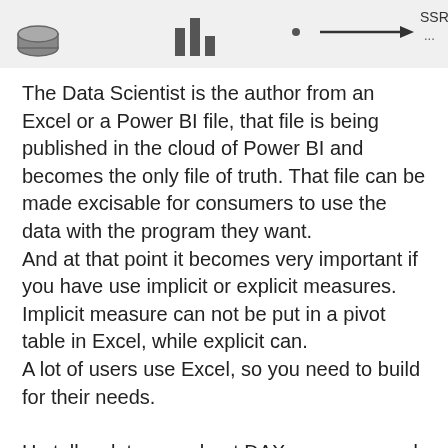[Figure (infographic): Top portion of a diagram showing icons including a bar chart icon and an arrow pointing right with labels including 'SSRS' and '...']
The Data Scientist is the author from an Excel or a Power BI file, that file is being published in the cloud of Power BI and becomes the only file of truth. That file can be made excisable for consumers to use the data with the program they want.
And at that point it becomes very important if you have use implicit or explicit measures. Implicit measure can not be put in a pivot table in Excel, while explicit can.
A lot of users use Excel, so you need to build for their needs.
He tells a lot more about DAX measures and I start to understand it.